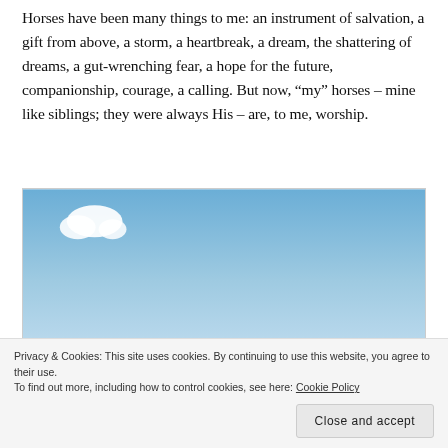Horses have been many things to me: an instrument of salvation, a gift from above, a storm, a heartbreak, a dream, the shattering of dreams, a gut-wrenching fear, a hope for the future, companionship, courage, a calling. But now, “my” horses – mine like siblings; they were always His – are, to me, worship.
[Figure (photo): A blue sky with a small white cloud in the upper left corner.]
Privacy & Cookies: This site uses cookies. By continuing to use this website, you agree to their use.
To find out more, including how to control cookies, see here: Cookie Policy